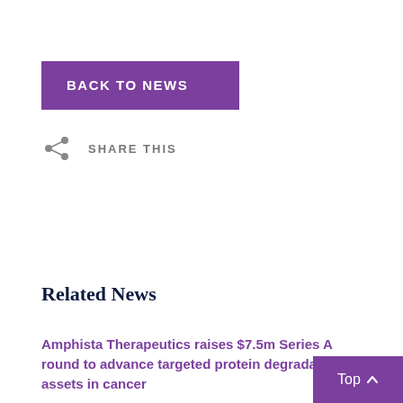BACK TO NEWS
SHARE THIS
Related News
Amphista Therapeutics raises $7.5m Series A round to advance targeted protein degradation assets in cancer